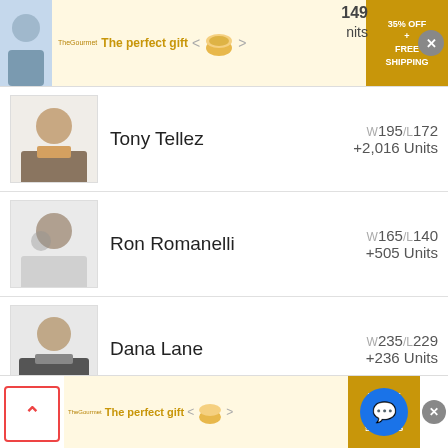[Figure (screenshot): Advertisement banner: The perfect gift - 35% OFF + FREE SHIPPING]
Tony Tellez W195/L172 +2,016 Units
Ron Romanelli W165/L140 +505 Units
Dana Lane W235/L229 +236 Units
Pick Dawgz Top Dawgz W186/L239 +16? Units
[Figure (screenshot): Bottom advertisement banner: The perfect gift - 35% OFF + FREE SHIPPING]